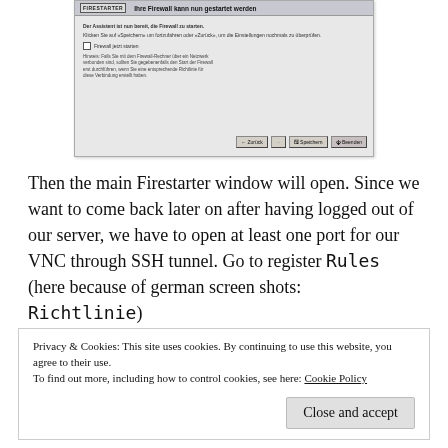[Figure (screenshot): Firestarter firewall wizard dialog in German, showing 'Ihre Firewall kann nun gestartet werden' header with buttons: Zurück, (disabled), Speichern, Beenden]
Then the main Firestarter window will open. Since we want to come back later on after having logged out of our server, we have to open at least one port for our VNC through SSH tunnel. Go to register Rules (here because of german screen shots: Richtlinie)
Privacy & Cookies: This site uses cookies. By continuing to use this website, you agree to their use.
To find out more, including how to control cookies, see here: Cookie Policy

Close and accept